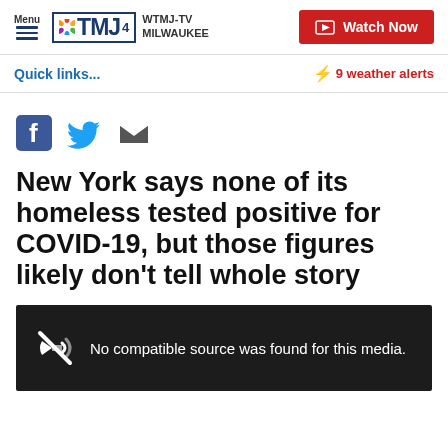Menu | WTMJ-TV MILWAUKEE | Watch Now
Quick links...
⚡ 9 weather alerts
[Figure (infographic): Social share icons: Facebook, Twitter, Email]
New York says none of its homeless tested positive for COVID-19, but those figures likely don't tell whole story
[Figure (screenshot): Video player showing: No compatible source was found for this media.]